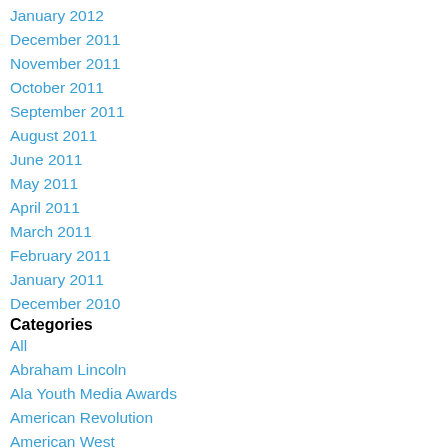January 2012
December 2011
November 2011
October 2011
September 2011
August 2011
June 2011
May 2011
April 2011
March 2011
February 2011
January 2011
December 2010
Categories
All
Abraham Lincoln
Ala Youth Media Awards
American Revolution
American West
Apples